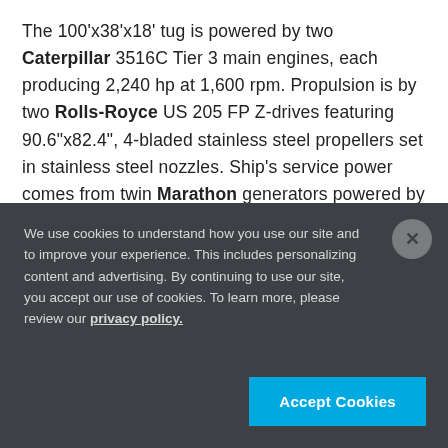The 100'x38'x18' tug is powered by two Caterpillar 3516C Tier 3 main engines, each producing 2,240 hp at 1,600 rpm. Propulsion is by two Rolls-Royce US 205 FP Z-drives featuring 90.6"x82.4", 4-bladed stainless steel propellers set in stainless steel nozzles. Ship's service power comes from twin Marathon generators powered by John Deere 4045AFM85 engines.
Other features include USCG-approved engine room
We use cookies to understand how you use our site and to improve your experience. This includes personalizing content and advertising. By continuing to use our site, you accept our use of cookies. To learn more, please review our privacy policy.